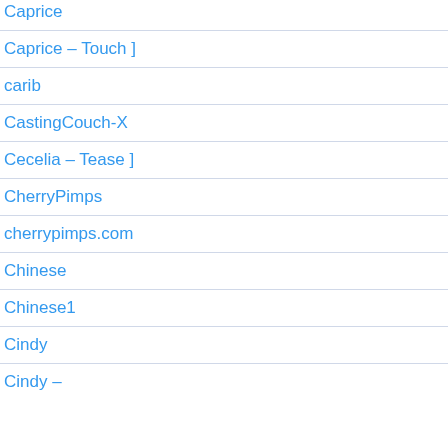Caprice
Caprice – Touch ]
carib
CastingCouch-X
Cecelia – Tease ]
CherryPimps
cherrypimps.com
Chinese
Chinese1
Cindy
Cindy – Link ]